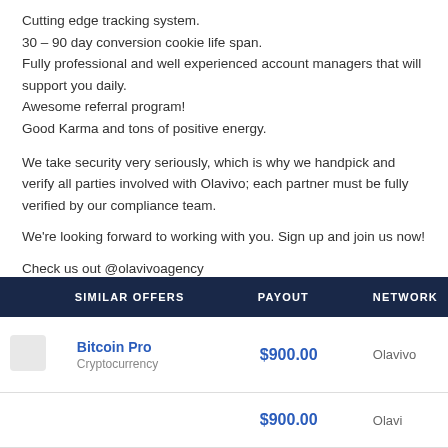Cutting edge tracking system.
30 – 90 day conversion cookie life span.
Fully professional and well experienced account managers that will support you daily.
Awesome referral program!
Good Karma and tons of positive energy.
We take security very seriously, which is why we handpick and verify all parties involved with Olavivo; each partner must be fully verified by our compliance team.
We're looking forward to working with you. Sign up and join us now!
Check us out @olavivoagency
| SIMILAR OFFERS | PAYOUT | NETWORK |
| --- | --- | --- |
| Bitcoin Pro
Cryptocurrency | $900.00 | Olavivo |
| ... | $900.00 | Olavivo |